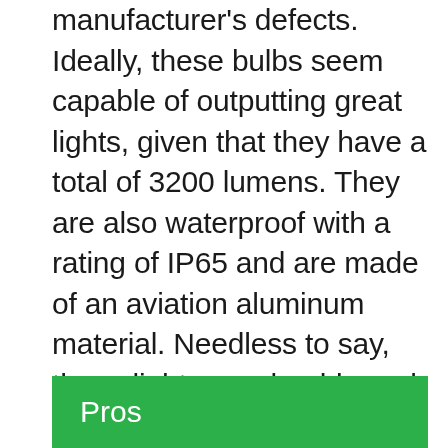manufacturer's defects. Ideally, these bulbs seem capable of outputting great lights, given that they have a total of 3200 lumens. They are also waterproof with a rating of IP65 and are made of an aviation aluminum material. Needless to say, these lights are durable and more than ready to deliver long-lasting performance. Another feature that helps improve their lifespan is the built-in excellent IC driver, which ensures better heat dissipation. The color of these lights is 3000K gold yellow, making them a great addition to any vehicle.
Pros